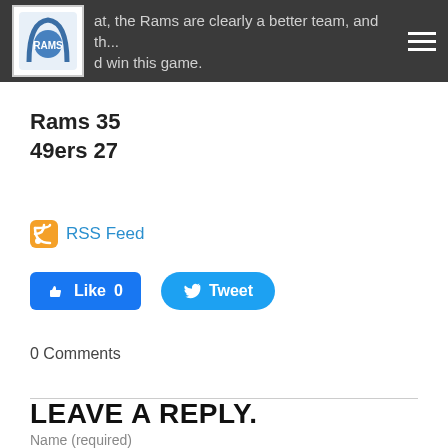at, the Rams are clearly a better team, and th... d win this game.
Rams 35
49ers 27
RSS Feed
[Figure (other): Facebook Like button with count 0 and Twitter Tweet button]
0 Comments
LEAVE A REPLY.
Name (required)